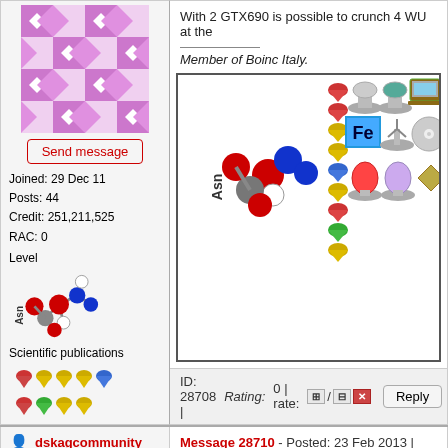[Figure (screenshot): Forum page with two user posts. Top post shows a user avatar (purple diamond pattern), Send message button, user stats (Joined: 29 Dec 11, Posts: 44, Credit: 251,211,525, RAC: 0, Level), molecule image labeled Asn, Scientific publications icons. Right side shows message text 'With 2 GTX690 is possible to crunch 4 WU at the', italic text 'Member of Boinc Italy.', badge/achievement image grid, and ID bar. Bottom post shows dskagcommunity user with photo avatar and message about CUDA Core Count.]